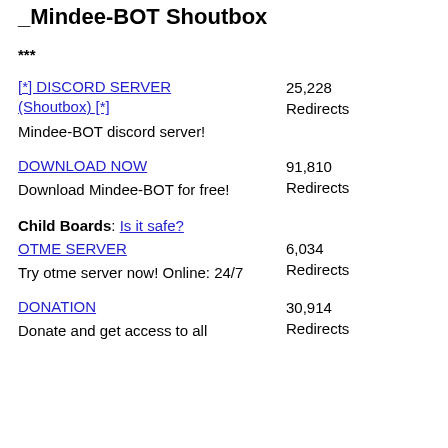_Mindee-BOT Shoutbox
***
[*] DISCORD SERVER (Shoutbox) [*]
Mindee-BOT discord server!
25,228 Redirects
DOWNLOAD NOW
Download Mindee-BOT for free!
91,810 Redirects
Child Boards: Is it safe?
OTME SERVER
Try otme server now! Online: 24/7
6,034 Redirects
DONATION
Donate and get access to all BOT features!
30,914 Redirects